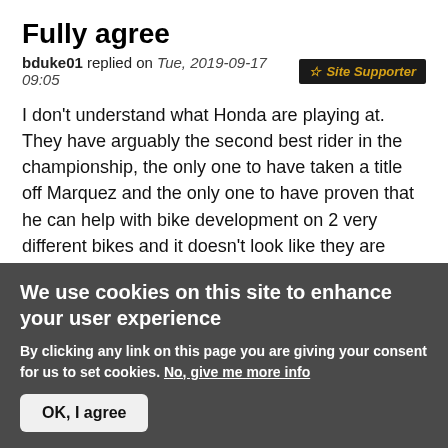Fully agree
bduke01 replied on Tue, 2019-09-17 09:05  ☆ Site Supporter
I don't understand what Honda are playing at. They have arguably the second best rider in the championship, the only one to have taken a title off Marquez and the only one to have proven that he can help with bike development on 2 very different bikes and it doesn't look like they are making much use of him?!
Log in or register to post comments
We use cookies on this site to enhance your user experience
By clicking any link on this page you are giving your consent for us to set cookies. No, give me more info
OK, I agree